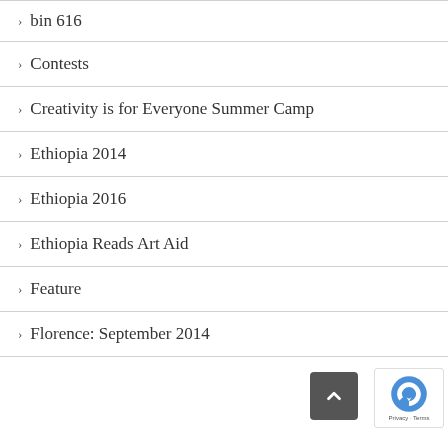bin 616
Contests
Creativity is for Everyone Summer Camp
Ethiopia 2014
Ethiopia 2016
Ethiopia Reads Art Aid
Feature
Florence: September 2014